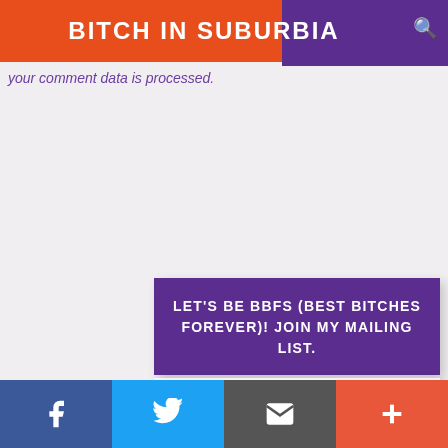BITCH IN SUBURBIA
your comment data is processed.
LET'S BE BBFS (BEST BITCHES FOREVER)! JOIN MY MAILING LIST.
First Name :
Email Address :
Join now!
Facebook | Twitter | Email | Plus